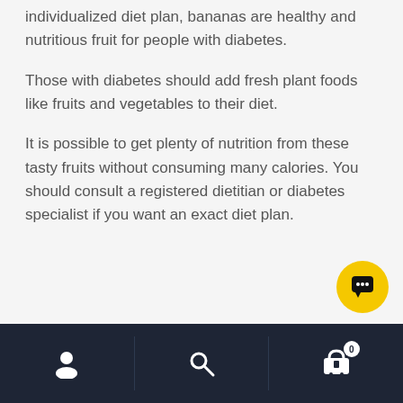individualized diet plan, bananas are healthy and nutritious fruit for people with diabetes.
Those with diabetes should add fresh plant foods like fruits and vegetables to their diet.
It is possible to get plenty of nutrition from these tasty fruits without consuming many calories. You should consult a registered dietitian or diabetes specialist if you want an exact diet plan.
Categories: Diet, Fitness, Health
[Figure (other): Bottom navigation bar with user profile icon, search icon, and shopping cart icon with badge showing 0. Yellow circular chat button in lower right.]